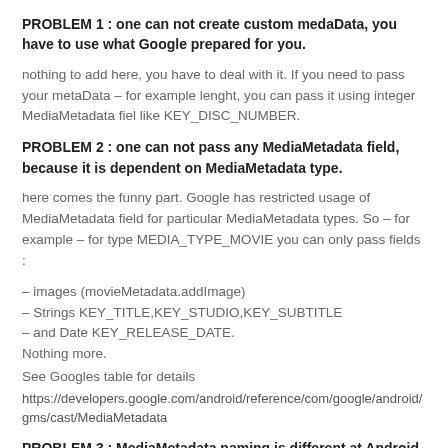PROBLEM 1 : one can not create custom medaData, you have to use what Google prepared for you.
nothing to add here, you have to deal with it. If you need to pass your metaData – for example lenght, you can pass it using integer MediaMetadata fiel like KEY_DISC_NUMBER.
PROBLEM 2 : one can not pass any MediaMetadata field, because it is dependent on MediaMetadata type.
here comes the funny part. Google has restricted usage of MediaMetadata field for particular MediaMetadata types. So – for example – for type MEDIA_TYPE_MOVIE you can only pass fields :
– images (movieMetadata.addImage)
– Strings KEY_TITLE,KEY_STUDIO,KEY_SUBTITLE
– and Date KEY_RELEASE_DATE.
Nothing more.
See Googles table for details
https://developers.google.com/android/reference/com/google/android/gms/cast/MediaMetadata
PROBLEM 3 : MediaMetadata naming is different at Android and JS part, which is shocking for me.